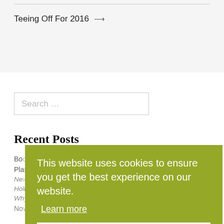Teeing Off For 2016 →
[Figure (screenshot): Search input box with placeholder text 'Search ...']
Recent Posts
Book a Golf Weekend...
Plan Your...
New Year Holiday– Four Reasons To Take A Golf Holiday For The New Year
Why You Should Book Your Post-Lockdown Golfing Break Now
This website uses cookies to ensure you get the best experience on our website. Learn more Okay, thank you.